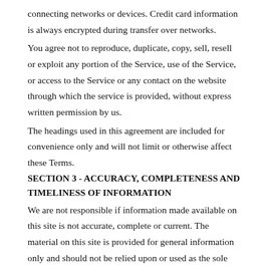connecting networks or devices. Credit card information is always encrypted during transfer over networks.
You agree not to reproduce, duplicate, copy, sell, resell or exploit any portion of the Service, use of the Service, or access to the Service or any contact on the website through which the service is provided, without express written permission by us.
The headings used in this agreement are included for convenience only and will not limit or otherwise affect these Terms.
SECTION 3 - ACCURACY, COMPLETENESS AND TIMELINESS OF INFORMATION
We are not responsible if information made available on this site is not accurate, complete or current. The material on this site is provided for general information only and should not be relied upon or used as the sole basis for making decisions without consulting primary, more